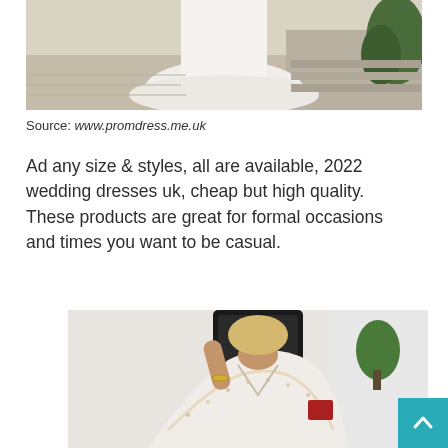[Figure (photo): Photo of a white wedding dress with flowing skirt, worn outdoors on a stone/gravel surface with plants in background]
Source: www.promdress.me.uk
Ad any size & styles, all are available, 2022 wedding dresses uk, cheap but high quality. These products are great for formal occasions and times you want to be casual.
[Figure (photo): Person taking a mirror selfie wearing a white sequined/beaded long-sleeve wedding dress with deep V neckline]